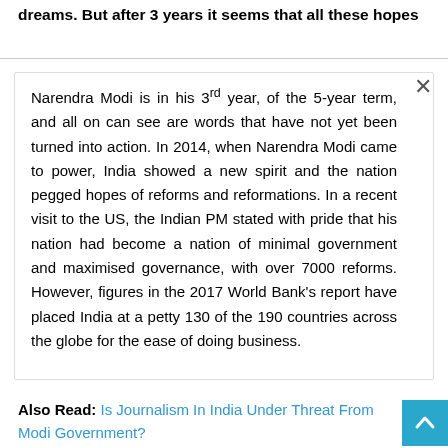dreams. But after 3 years it seems that all these hopes have been...
Narendra Modi is in his 3rd year, of the 5-year term, and all one can see are words that have not yet been turned into action. In 2014, when Narendra Modi came to power, India showed a new spirit and the nation pegged hopes of reforms and reformations. In a recent visit to the US, the Indian PM stated with pride that his nation had become a nation of minimal government and maximised governance, with over 7000 reforms. However, figures in the 2017 World Bank's report have placed India at a petty 130 of the 190 countries across the globe for the ease of doing business.
Also Read: Is Journalism In India Under Threat From Modi Government?